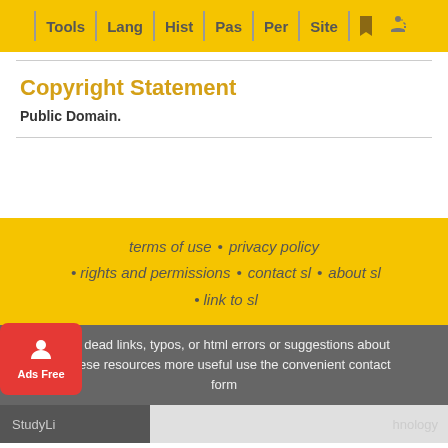Tools | Lang | Hist | Pas | Per | Site
Copyright Statement
Public Domain.
terms of use • privacy policy • rights and permissions • contact sl • about sl • link to sl
To report dead links, typos, or html errors or suggestions about making these resources more useful use the convenient contact form
StudyLight ... hnology